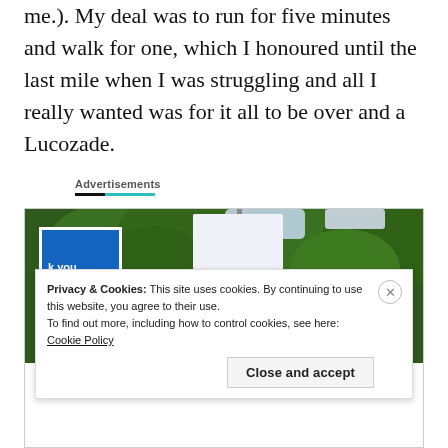me.). My deal was to run for five minutes and walk for one, which I honoured until the last mile when I was struggling and all I really wanted was for it all to be over and a Lucozade.
Advertisements
[Figure (photo): Outdoor advertisement scene with a blue road sign reading 'k you driving efully' and a tall banner/flag with white, pink, and purple design sections, set against a background of green trees]
Privacy & Cookies: This site uses cookies. By continuing to use this website, you agree to their use.
To find out more, including how to control cookies, see here: Cookie Policy
Close and accept